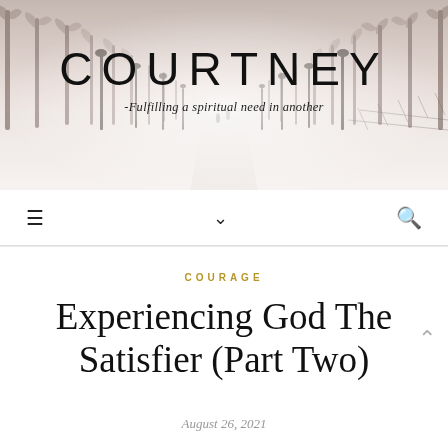[Figure (photo): Snowy winter scene of a tree-lined avenue with lamp posts receding into the distance, foggy and serene, with a few small figures in the background]
COURTNEY
-Fulfilling a spiritual need in another
☰  ∨  🔍
COURAGE
Experiencing God The Satisfier (Part Two)
August 26, 2021